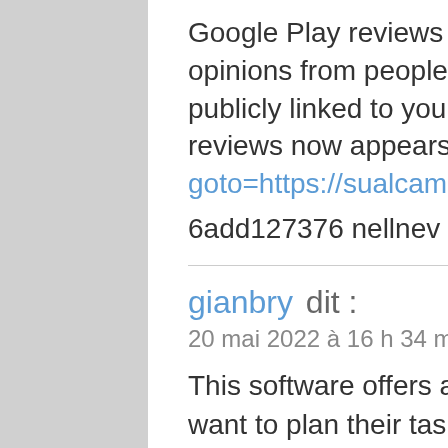Google Play reviews now use Google+ so it's easier to see opinions from people you care about. New reviews will be publicly linked to your Google+ profile. Your name on previous reviews now appears http://roscm.ru/bitrix/rk.php?goto=https://sualcamiga.weebly.com
6add127376 nellnev
gianbry dit :
20 mai 2022 à 16 h 34 min
This software offers an effective solution for all those who want to plan their tasks on a weekly basis. Multiple elements make this Scheduling software a modular, easy to use and flexible tool.
Pre-defined task templates ensure not only effective control of your workforce, but also reduction of human resource costs. The templates show you how your resource can